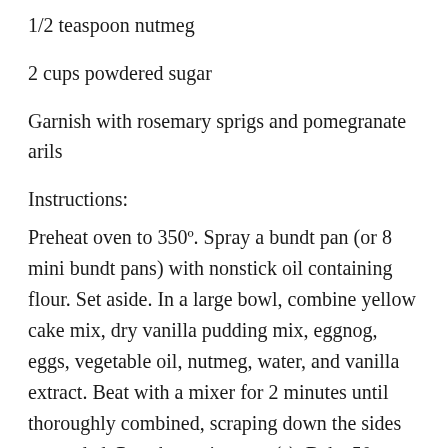1/2 teaspoon nutmeg
2 cups powdered sugar
Garnish with rosemary sprigs and pomegranate arils
Instructions:
Preheat oven to 350º. Spray a bundt pan (or 8 mini bundt pans) with nonstick oil containing flour. Set aside. In a large bowl, combine yellow cake mix, dry vanilla pudding mix, eggnog, eggs, vegetable oil, nutmeg, water, and vanilla extract. Beat with a mixer for 2 minutes until thoroughly combined, scraping down the sides as needed. Pour batter into pan(s). Bake 50 minutes for large, or 25 minutes for small bundt cakes, until a cake tester comes out clean. Remove from oven to cool for 10 minutes before inverting on a wire rack. Allow to cool 10 minutes longer before transferring to a cake plate. While cakes are cooling make the glazed icing. In a bowl, whisk together butter, eggnog,